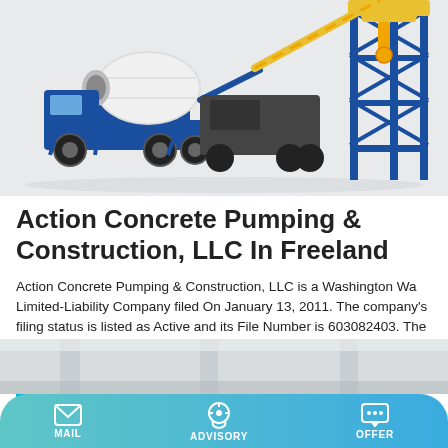[Figure (photo): Blue concrete mixer truck and blue construction tower/scaffold equipment on a white background]
Action Concrete Pumping & Construction, LLC In Freeland
Action Concrete Pumping & Construction, LLC is a Washington Wa Limited-Liability Company filed On January 13, 2011. The company's filing status is listed as Active and its File Number is 603082403. The Registered Agent on file for this company is Brenda L Quade and is located at 4423 Upper Harbor Rd, Freeland, WA 98249.
[Figure (photo): Partial view of a warehouse or industrial building interior — light gray tones]
MAIL   ADVISORY   OFFER